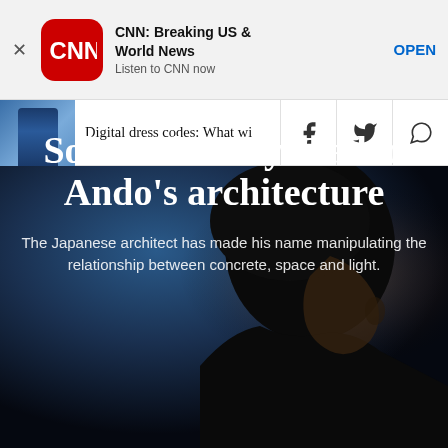[Figure (screenshot): CNN app advertisement banner with CNN logo (red rounded square), app name 'CNN: Breaking US & World News', subtitle 'Listen to CNN now', and OPEN button]
Digital dress codes: What wi
[Figure (photo): Dark dramatic portrait photo of Tadao Ando, a Japanese architect, partially silhouetted against a dark blue background with his face catching side light from the right]
Architecture
Solemn beauty: Tadao Ando's architecture
The Japanese architect has made his name manipulating the relationship between concrete, space and light.